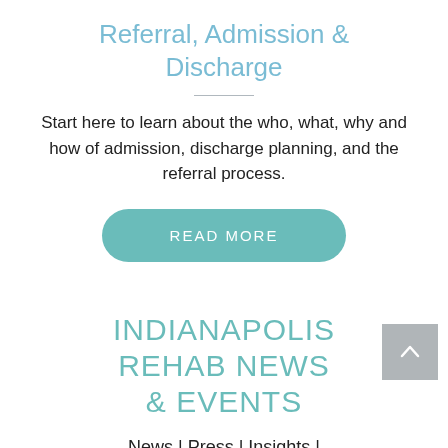Referral, Admission & Discharge
Start here to learn about the who, what, why and how of admission, discharge planning, and the referral process.
READ MORE
INDIANAPOLIS REHAB NEWS & EVENTS
News | Press | Insights | Events